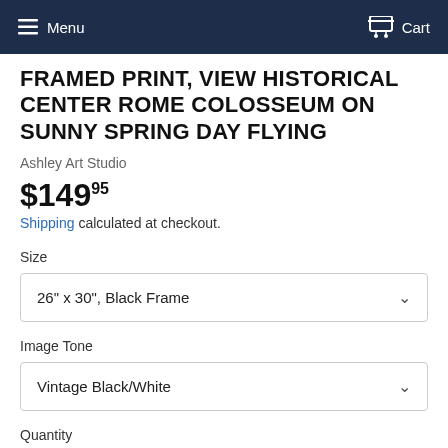Menu   Cart
FRAMED PRINT, VIEW HISTORICAL CENTER ROME COLOSSEUM ON SUNNY SPRING DAY FLYING
Ashley Art Studio
$14995
Shipping calculated at checkout.
Size
26" x 30", Black Frame
Image Tone
Vintage Black/White
Quantity